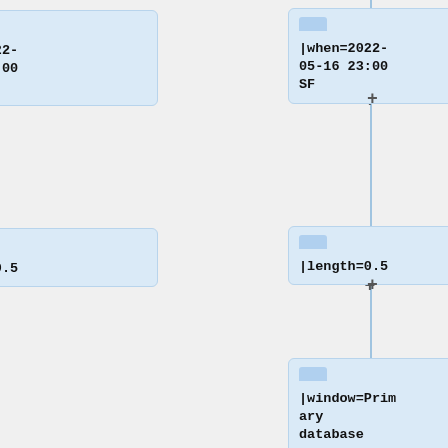|when=2022-05-16 23:00 SF
|length=0.5
|window=Primary database switchover
|who={{ircnick|kormat|Stevie Beth Mhaol}}, {{ircnick|marostegui|Manuel Arostegui}}